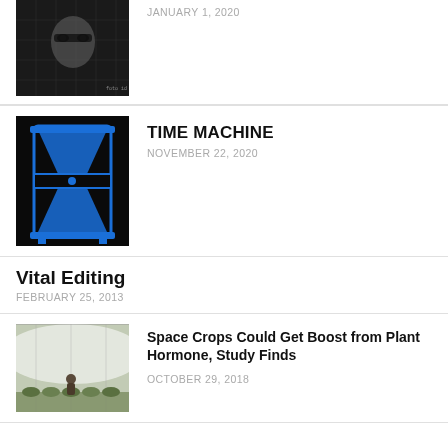[Figure (photo): Black and white photo of a person with digital/matrix overlay effect]
JANUARY 1, 2020
TIME MACHINE
NOVEMBER 22, 2020
[Figure (illustration): Black background with blue hourglass illustration]
Vital Editing
FEBRUARY 25, 2013
[Figure (photo): Foggy greenhouse/indoor farm with person and plants]
Space Crops Could Get Boost from Plant Hormone, Study Finds
OCTOBER 29, 2018
Recent Comments